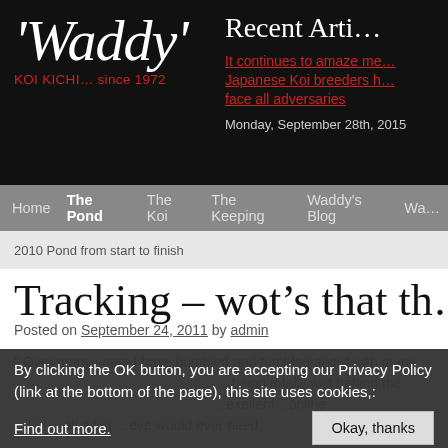'Waddy' KOI KICHI… since 1972
Recent Articles
It continues to amaze me… Japanese Koi breeders h… face all adversaries
Monday, September 28th, 2015
Home | The Pond | The Koi | The Keeping | Waddy's Blog | Wa…
2010 Pond from start to finish
Tracking – wot's that th…
Posted on September 24, 2011 by admin
By clicking the OK button, you are accepting our Privacy Policy (link at the bottom of the page), this site uses cookies,: Find out more.